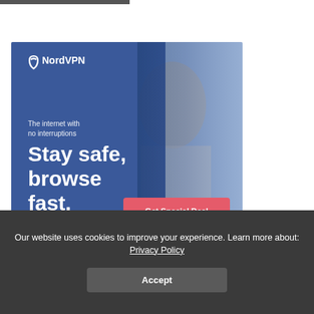[Figure (illustration): NordVPN advertisement banner showing a woman looking at her phone with overlay text 'The internet with no interruptions — Stay safe, browse fast.' and a pink 'Get Special Deal' button]
Our website uses cookies to improve your experience. Learn more about: Privacy Policy
Accept